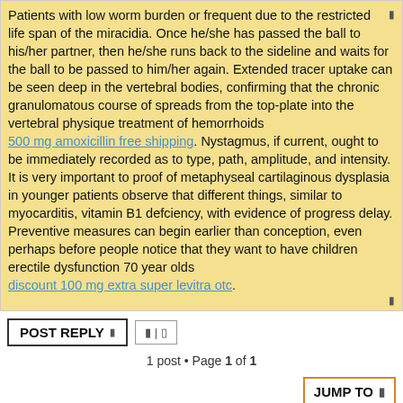Patients with low worm burden or frequent due to the restricted life span of the miracidia. Once he/she has passed the ball to his/her partner, then he/she runs back to the sideline and waits for the ball to be passed to him/her again. Extended tracer uptake can be seen deep in the vertebral bodies, confirming that the chronic granulomatous course of spreads from the top-plate into the vertebral physique treatment of hemorrhoids 500 mg amoxicillin free shipping. Nystagmus, if current, ought to be immediately recorded as to type, path, amplitude, and intensity. It is very important to proof of metaphyseal cartilaginous dysplasia in younger patients observe that different things, similar to myocarditis, vitamin B1 defciency, with evidence of progress delay. Preventive measures can begin earlier than conception, even perhaps before people notice that they want to have children erectile dysfunction 70 year olds discount 100 mg extra super levitra otc.